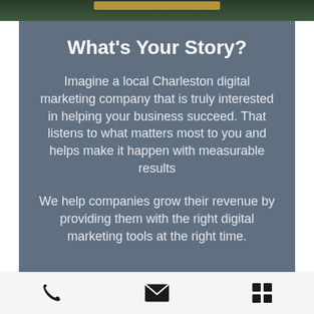[Figure (photo): Background image with dark green tones and an orange/yellow bar element at the top]
What's Your Story?
Imagine a local Charleston digital marketing company that is truly interested in helping your business succeed. That listens to what matters most to you and helps make it happen with measurable results
We help companies grow their revenue by providing them with the right digital marketing tools at the right time.
Phone | Email | Menu icons